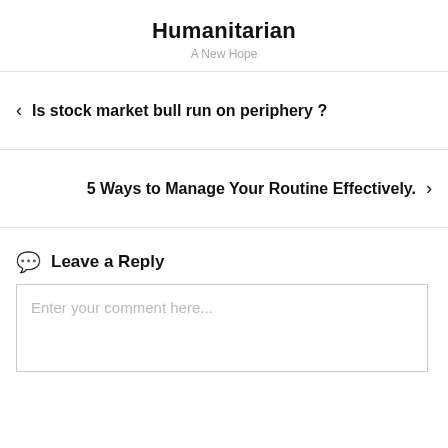Humanitarian
A New Hope
‹ Is stock market bull run on periphery ?
5 Ways to Manage Your Routine Effectively. ›
💬 Leave a Reply
Enter your comment here...